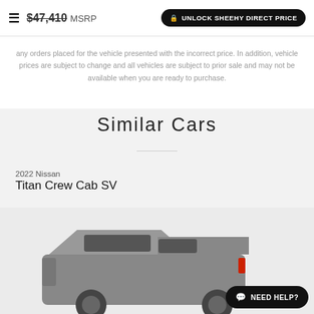$47,410 MSRP | UNLOCK SHEEHY DIRECT PRICE
any orders placed for the vehicle presented with the incorrect price. In addition, vehicle prices are subject to change and all vehicles are subject to prior sale and may not be available when you are ready to purchase.
Similar Cars
2022 Nissan
Titan Crew Cab SV
[Figure (photo): Photo of a 2022 Nissan Titan Crew Cab SV truck, gray/silver color, partially visible from the side]
NEED HELP?